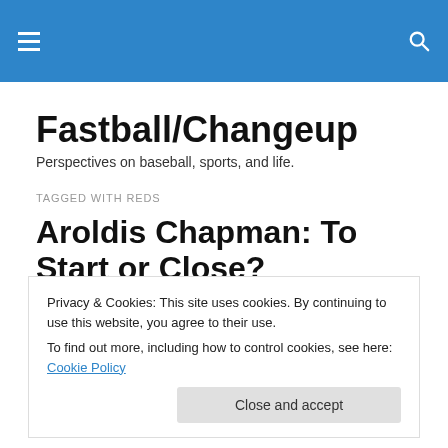Fastball/Changeup [navigation header with hamburger menu and search icon]
Fastball/Changeup
Perspectives on baseball, sports, and life.
TAGGED WITH REDS
Aroldis Chapman: To Start or Close?
Privacy & Cookies: This site uses cookies. By continuing to use this website, you agree to their use.
To find out more, including how to control cookies, see here: Cookie Policy
Close and accept